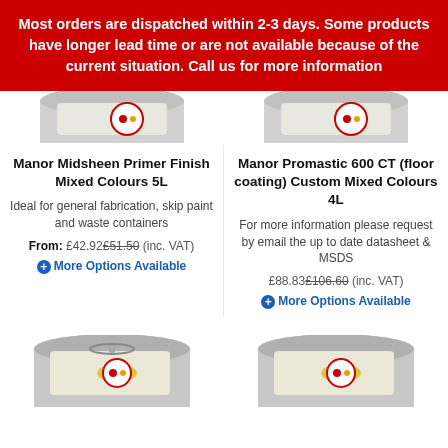Most orders are dispatched within 2-3 days. Some products have longer lead time or are not available because of the current situation. Call us for more information
[Figure (photo): Top portion of two paint tin product images partially visible below the red banner]
Manor Midsheen Primer Finish Mixed Colours 5L
Manor Promastic 600 CT (floor coating) Custom Mixed Colours 4L
Ideal for general fabrication, skip paint and waste containers
For more information please request by email the up to date datasheet & MSDS
From: £42.92£51.50 (inc. VAT)
£88.83£106.60 (inc. VAT)
More Options Available
More Options Available
[Figure (photo): Bottom portions of two more paint tin product images partially visible at the bottom of the page]